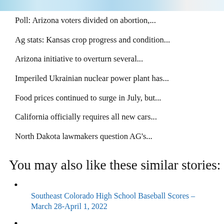[Figure (photo): Partial decorative image at top of page with blue tones]
Poll: Arizona voters divided on abortion,...
Ag stats: Kansas crop progress and condition...
Arizona initiative to overturn several...
Imperiled Ukrainian nuclear power plant has...
Food prices continued to surge in July, but...
California officially requires all new cars...
North Dakota lawmakers question AG's...
You may also like these similar stories:
Southeast Colorado High School Baseball Scores – March 28-April 1, 2022
Southeast Colorado Girls High School Basketball Scores January 18-22, 2022
Southeast Colorado Boys High School Basketball